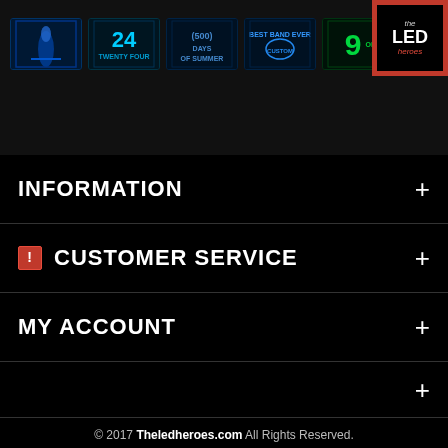[Figure (screenshot): Header banner with LED neon sign product thumbnails and The LED Heroes logo in top-right corner]
INFORMATION
CUSTOMER SERVICE
MY ACCOUNT
(empty nav section with + button)
© 2017 Theledheroes.com All Rights Reserved. Navigate our store: Search. Payment icons: PayPal, Discover, Visa, American Express, MasterCard